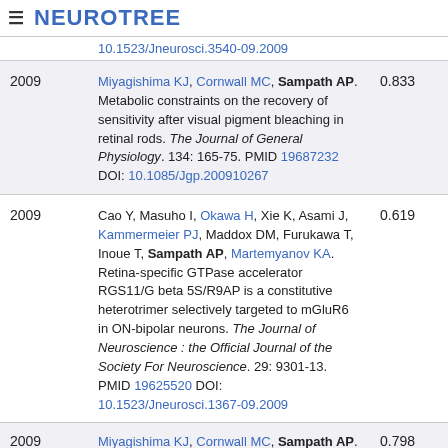≡ NEUROTREE
| Year | Reference | Score |
| --- | --- | --- |
|  | 10.1523/Jneurosci.3540-09.2009 |  |
| 2009 | Miyagishima KJ, Cornwall MC, Sampath AP. Metabolic constraints on the recovery of sensitivity after visual pigment bleaching in retinal rods. The Journal of General Physiology. 134: 165-75. PMID 19687232 DOI: 10.1085/Jgp.200910267 | 0.833 |
| 2009 | Cao Y, Masuho I, Okawa H, Xie K, Asami J, Kammermeier PJ, Maddox DM, Furukawa T, Inoue T, Sampath AP, Martemyanov KA. Retina-specific GTPase accelerator RGS11/G beta 5S/R9AP is a constitutive heterotrimer selectively targeted to mGluR6 in ON-bipolar neurons. The Journal of Neuroscience : the Official Journal of the Society For Neuroscience. 29: 9301-13. PMID 19625520 DOI: 10.1523/Jneurosci.1367-09.2009 | 0.619 |
| 2009 | Miyagishima KJ, Cornwall MC, Sampath AP. Control Of Sensitivity Following Pigment Bleaching... | 0.798 |